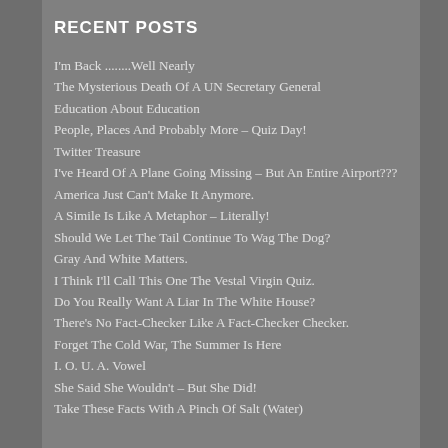RECENT POSTS
I'm Back ........Well Nearly
The Mysterious Death Of A UN Secretary General
Education About Education
People, Places And Probably More – Quiz Day!
Twitter Treasure
I've Heard Of A Plane Going Missing – But An Entire Airport???
America Just Can't Make It Anymore.
A Simile Is Like A Metaphor – Literally!
Should We Let The Tail Continue To Wag The Dog?
Gray And White Matters.
I Think I'll Call This One The Vestal Virgin Quiz.
Do You Really Want A Liar In The White House?
There's No Fact-Checker Like A Fact-Checker Checker.
Forget The Cold War, The Summer Is Here
I. O. U. A. Vowel
She Said She Wouldn't – But She Did!
Take These Facts With A Pinch Of Salt (Water)